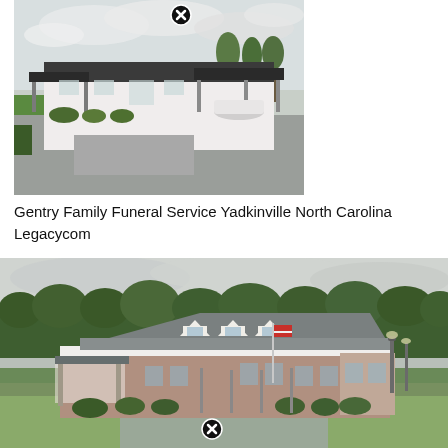[Figure (photo): Exterior photo of Gentry Family Funeral Service in Yadkinville, North Carolina. A white low-rise building with a dark roof and covered carport area. Trees visible in the background under a cloudy sky. A close/dismiss button (circled X) is overlaid at the top center.]
Gentry Family Funeral Service Yadkinville North Carolina Legacycom
[Figure (photo): Aerial or elevated exterior photo of a funeral home building — a large brick and white structure with a gray roof, dormers, covered porte-cochere on the left, and American flag in front. Surrounded by green lawns and trees. A close/dismiss button (circled X) is overlaid at the bottom center.]